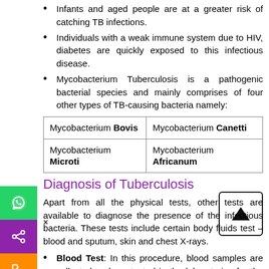Infants and aged people are at a greater risk of catching TB infections.
Individuals with a weak immune system due to HIV, diabetes are quickly exposed to this infectious disease.
Mycobacterium Tuberculosis is a pathogenic bacterial species and mainly comprises of four other types of TB-causing bacteria namely:
| Mycobacterium Bovis | Mycobacterium Canetti |
| Mycobacterium Microti | Mycobacterium Africanum |
Diagnosis of Tuberculosis
Apart from all the physical tests, other tests are available to diagnose the presence of the infectious bacteria. These tests include certain body fluids test – blood and sputum, skin and chest X-rays.
Blood Test: In this procedure, blood samples are collected and are tested in the laboratories for the presence or absence of TB germs in the blood cells.
Skin Test: It is the most common type of test. In this